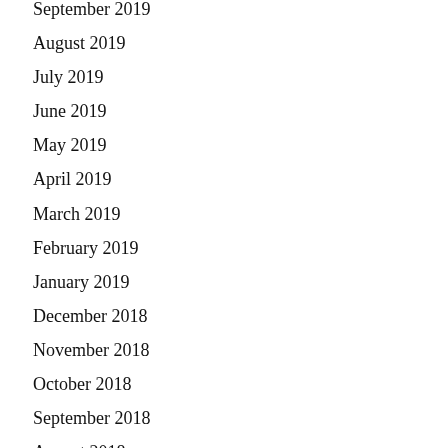September 2019
August 2019
July 2019
June 2019
May 2019
April 2019
March 2019
February 2019
January 2019
December 2018
November 2018
October 2018
September 2018
August 2018
July 2018
June 2018
May 2018